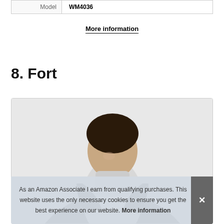| Model | WM4036 |
More information
8. Fort
[Figure (photo): Man wearing a black jacket over a white turtleneck sweater, product photo cropped at the torso/shoulders.]
As an Amazon Associate I earn from qualifying purchases. This website uses the only necessary cookies to ensure you get the best experience on our website. More information